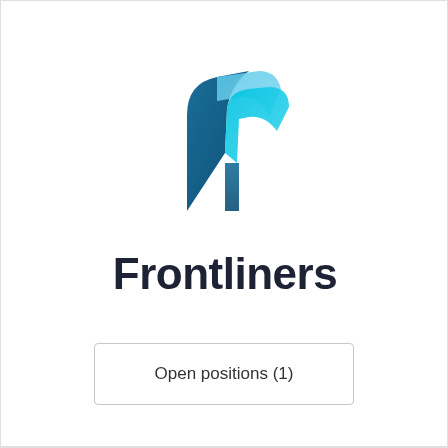[Figure (logo): Frontliners logo: a stylized letter F made of overlapping ribbon-like shapes in cyan, light blue, and dark teal/blue gradient colors]
Frontliners
Open positions (1)